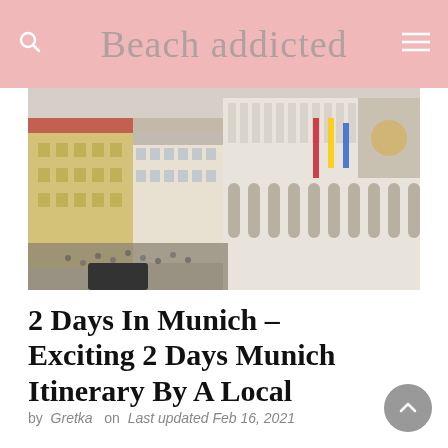Beach addicted
[Figure (photo): Aerial view of Munich Marienplatz with historic buildings, crowds, and the New Town Hall]
2 Days In Munich – Exciting 2 Days Munich Itinerary By A Local
by Gretka on Last updated Feb 16, 2021